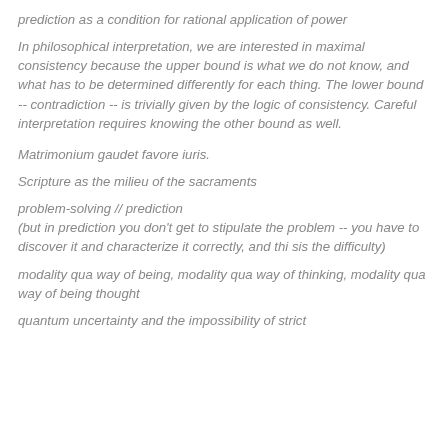prediction as a condition for rational application of power
In philosophical interpretation, we are interested in maximal consistency because the upper bound is what we do not know, and what has to be determined differently for each thing. The lower bound -- contradiction -- is trivially given by the logic of consistency. Careful interpretation requires knowing the other bound as well.
Matrimonium gaudet favore iuris.
Scripture as the milieu of the sacraments
problem-solving // prediction
(but in prediction you don't get to stipulate the problem -- you have to discover it and characterize it correctly, and thi sis the difficulty)
modality qua way of being, modality qua way of thinking, modality qua way of being thought
quantum uncertainty and the impossibility of strict